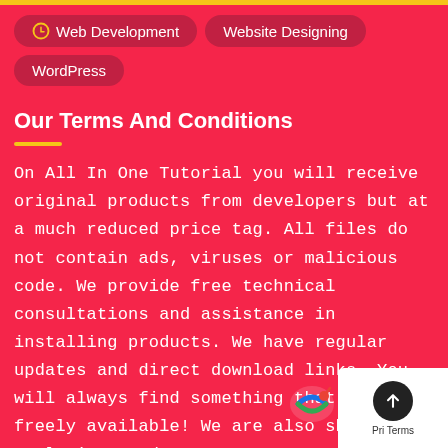Web Development | Website Designing | WordPress
Our Terms And Conditions
On All In One Tutorial you will receive original products from developers but at a much reduced price tag. All files do not contain ads, viruses or malicious code. We provide free technical consultations and assistance in installing products. We have regular updates and direct download links. You will always find something that is not freely available! We are also sharing exclusive products For Free....